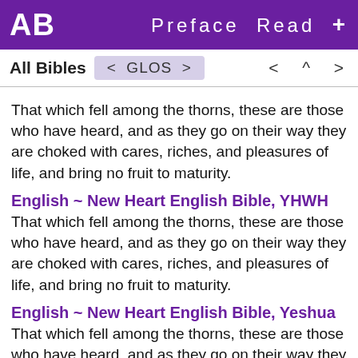AB  Preface  Read  +
All Bibles  < GLOS >  < ^ >
That which fell among the thorns, these are those who have heard, and as they go on their way they are choked with cares, riches, and pleasures of life, and bring no fruit to maturity.
English ~ New Heart English Bible, YHWH
That which fell among the thorns, these are those who have heard, and as they go on their way they are choked with cares, riches, and pleasures of life, and bring no fruit to maturity.
English ~ New Heart English Bible, Yeshua
That which fell among the thorns, these are those who have heard, and as they go on their way they are choked with cares, riches, and pleasures of life, and bring no fruit to maturity.